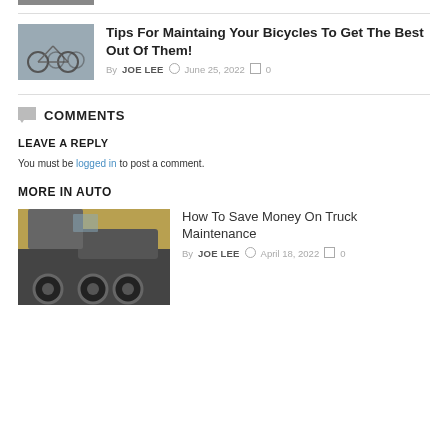[Figure (photo): Partial top image strip]
Tips For Maintaing Your Bicycles To Get The Best Out Of Them!
By JOE LEE  June 25, 2022  0
COMMENTS
LEAVE A REPLY
You must be logged in to post a comment.
MORE IN AUTO
How To Save Money On Truck Maintenance
By JOE LEE  April 18, 2022  0